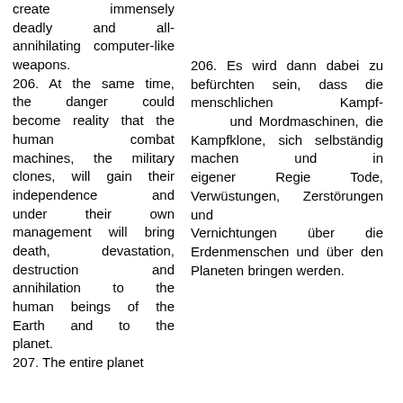create immensely deadly and all-annihilating computer-like weapons.
206. At the same time, the danger could become reality that the human combat machines, the military clones, will gain their independence and under their own management will bring death, devastation, destruction and annihilation to the human beings of the Earth and to the planet.
206. Es wird dann dabei zu befürchten sein, dass die menschlichen Kampf- und Mordmaschinen, die Kampfklone, sich selbständig machen und in eigener Regie Tode, Verwüstungen, Zerstörungen und Vernichtungen über die Erdenmenschen und über den Planeten bringen werden.
207. The entire planet
207. Das Ganze wird ein Inferno